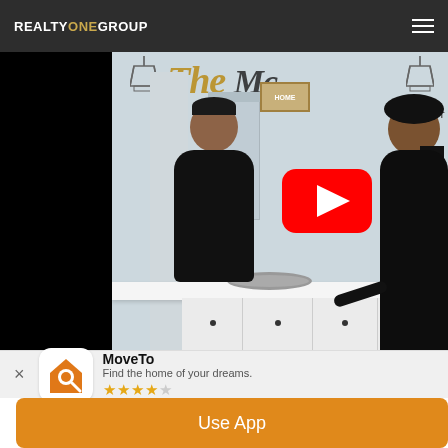REALTY ONE GROUP
[Figure (screenshot): YouTube video thumbnail showing two people (a man and a woman dressed in black) standing at a white kitchen counter inside a bright real estate office with gold script lettering on the wall. A YouTube play button overlay is visible in the center-right area. The left portion of the image is a black letterbox area.]
MoveTo
Find the home of your dreams.
★★★★☆
Use App